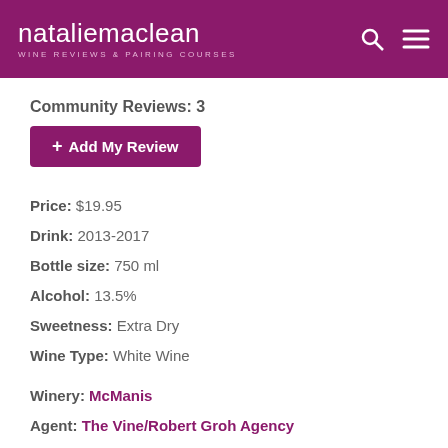natalie maclean — WINE REVIEWS & PAIRING COURSES
Community Reviews: 3
+ Add My Review
Price: $19.95
Drink: 2013-2017
Bottle size: 750 ml
Alcohol: 13.5%
Sweetness: Extra Dry
Wine Type: White Wine
Winery: McManis
Agent: The Vine/Robert Groh Agency
[Figure (infographic): Four action icons (heart, cart, box, star) each with a plus badge, in light gray]